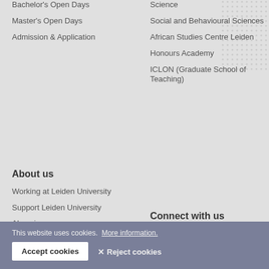Bachelor's Open Days
Master's Open Days
Admission & Application
Science
Social and Behavioural Sciences
African Studies Centre Leiden
Honours Academy
ICLON (Graduate School of Teaching)
About us
Working at Leiden University
Support Leiden University
Alumni
Impact
Connect with us
Sign up to receive our monthly newsletter
[Figure (infographic): Social media icons: Facebook, Twitter, YouTube, LinkedIn, Instagram]
This website uses cookies. More information.
Accept cookies
✕ Reject cookies